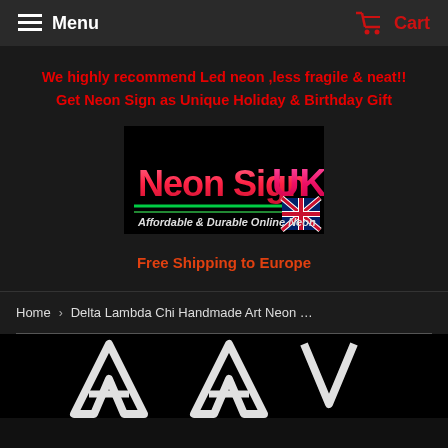Menu   Cart
We highly recommend Led neon ,less fragile & neat!!
Get Neon Sign as Unique Holiday & Birthday Gift
[Figure (logo): Neon Sign UK logo with Union Jack flag. Text reads 'Neon Sign UK' and 'Affordable & Durable Online Neon']
Free Shipping to Europe
Home › Delta Lambda Chi Handmade Art Neon …
[Figure (photo): Bottom portion showing neon letter shapes (A, A, V) in white/chrome style against black background]